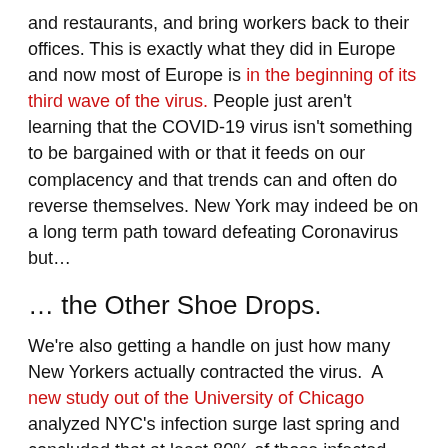and restaurants, and bring workers back to their offices. This is exactly what they did in Europe and now most of Europe is in the beginning of its third wave of the virus. People just aren't learning that the COVID-19 virus isn't something to be bargained with or that it feeds on our complacency and that trends can and often do reverse themselves. New York may indeed be on a long term path toward defeating Coronavirus but…
… the Other Shoe Drops.
We're also getting a handle on just how many New Yorkers actually contracted the virus. A new study out of the University of Chicago analyzed NYC's infection surge last spring and concluded that at least 80% of those infected had no symptoms. In other words, because we had such poor testing a year ago our real infection numbers were at least 5x what was reported. That number is more in line with what epidemiologists were expecting from a NYC outbreak a year ago. It also means that a lot of New Yorkers are walking around with antibodies to the virus.